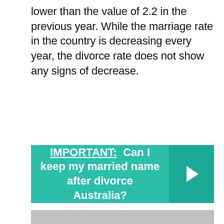lower than the value of 2.2 in the previous year. While the marriage rate in the country is decreasing every year, the divorce rate does not show any signs of decrease.
IMPORTANT: Can I keep my married name after divorce Australia?
[Figure (screenshot): YouTube video embed placeholder showing a gray background with a red YouTube play button icon in the center]